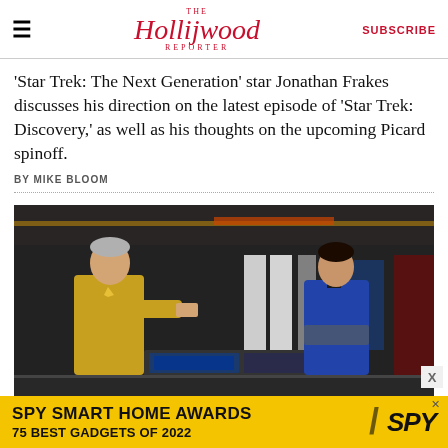The Hollywood Reporter | SUBSCRIBE
'Star Trek: The Next Generation' star Jonathan Frakes discusses his direction on the latest episode of 'Star Trek: Discovery,' as well as his thoughts on the upcoming Picard spinoff.
BY MIKE BLOOM
[Figure (photo): Two actors in Star Trek uniforms on a futuristic starship bridge set. One in a gold uniform reaches toward a console, the other in a blue uniform stands opposite.]
[Figure (infographic): Advertisement banner: SPY SMART HOME AWARDS 75 BEST GADGETS OF 2022 with SPY logo on yellow background.]